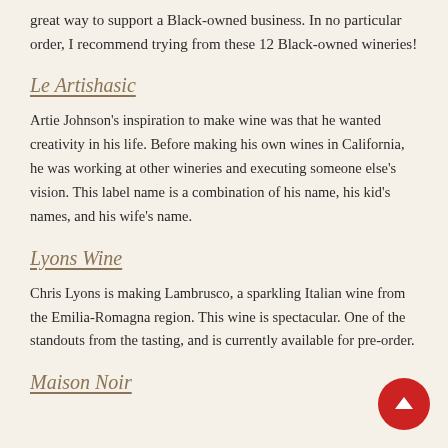great way to support a Black-owned business. In no particular order, I recommend trying from these 12 Black-owned wineries!
Le Artishasic
Artie Johnson's inspiration to make wine was that he wanted creativity in his life. Before making his own wines in California, he was working at other wineries and executing someone else's vision. This label name is a combination of his name, his kid's names, and his wife's name.
Lyons Wine
Chris Lyons is making Lambrusco, a sparkling Italian wine from the Emilia-Romagna region. This wine is spectacular. One of the standouts from the tasting, and is currently available for pre-order.
Maison Noir